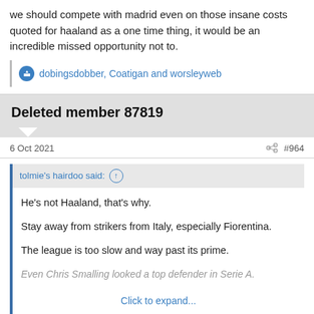we should compete with madrid even on those insane costs quoted for haaland as a one time thing, it would be an incredible missed opportunity not to.
dobingsdobber, Coatigan and worsleyweb
Deleted member 87819
6 Oct 2021   #964
tolmie's hairdoo said:
He's not Haaland, that's why.

Stay away from strikers from Italy, especially Fiorentina.

The league is too slow and way past its prime.

Even Chris Smalling looked a top defender in Serie A.

Click to expand...